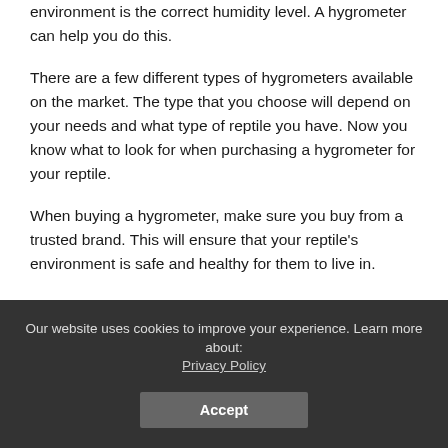environment is the correct humidity level. A hygrometer can help you do this.
There are a few different types of hygrometers available on the market. The type that you choose will depend on your needs and what type of reptile you have. Now you know what to look for when purchasing a hygrometer for your reptile.
When buying a hygrometer, make sure you buy from a trusted brand. This will ensure that your reptile's environment is safe and healthy for them to live in.
Remember to calibrate the device regularly so it stays accurate!
Our website uses cookies to improve your experience. Learn more about: Privacy Policy Accept